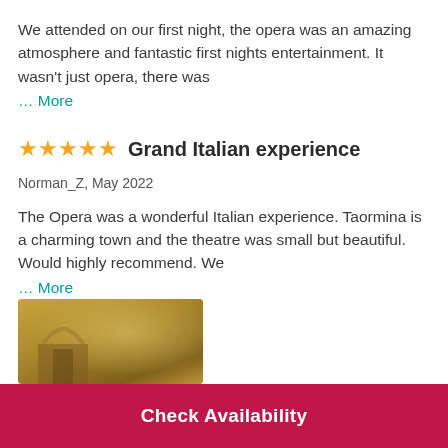We attended on our first night, the opera was an amazing atmosphere and fantastic first nights entertainment. It wasn't just opera, there was
... More
Grand Italian experience
Norman_Z, May 2022
The Opera was a wonderful Italian experience. Taormina is a charming town and the theatre was small but beautiful. Would highly recommend. We
... More
[Figure (photo): Partial photo of ornate golden theatre interior architecture, partially visible at bottom left]
Check Availability